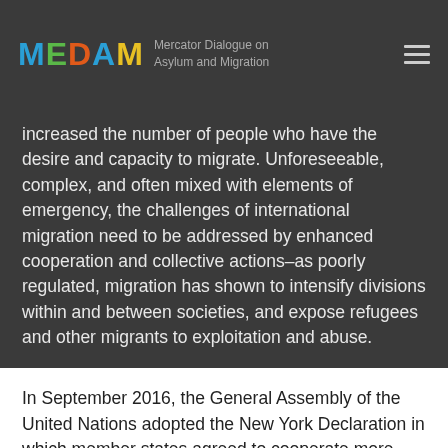MEDAM — Mercator Dialogue on Asylum and Migration
increased the number of people who have the desire and capacity to migrate. Unforeseeable, complex, and often mixed with elements of emergency, the challenges of international migration need to be addressed by enhanced cooperation and collective actions–as poorly regulated, migration has shown to intensify divisions within and between societies, and expose refugees and other migrants to exploitation and abuse.
In September 2016, the General Assembly of the United Nations adopted the New York Declaration in which member states agreed to cooperate more closely to manage migration, and to protect the rights of refugees and other migrants. To do so, the member states decided to create the Global Compact on Refugees and the Global Compact for Safe, Orderly and Regular Migration in two parallel processes. Following the ongoing negotiations,